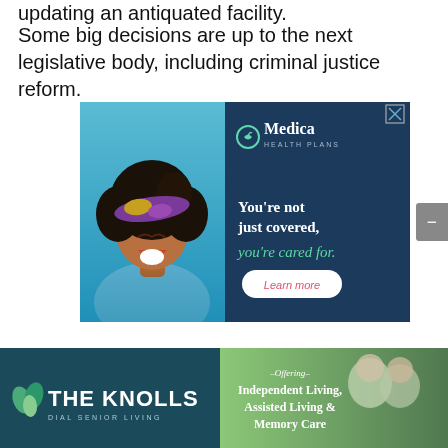updating an antiquated facility.
Some big decisions are up to the next legislative body, including criminal justice reform.
[Figure (photo): Medica Health Plans advertisement showing a smiling woman with colorful headwrap. Text reads: You're not just covered, you're cared for. Learn more.]
[Figure (photo): The Knolls Dial Senior Living advertisement. Left: dark teal background with The Knolls logo and leaf icons. Right: outdoor photo of senior couple with text: Offering Independent Living, Assisted Living & Memory Care.]